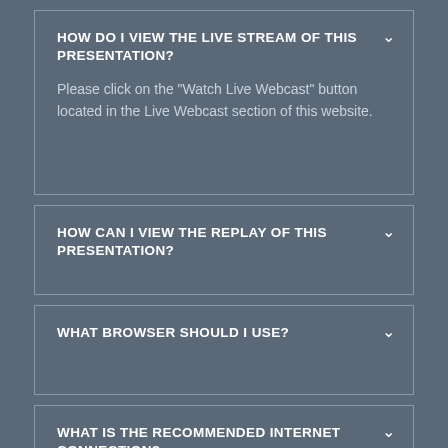HOW DO I VIEW THE LIVE STREAM OF THIS PRESENTATION?
Please click on the "Watch Live Webcast" button located in the Live Webcast section of this website.
HOW CAN I VIEW THE REPLAY OF THIS PRESENTATION?
WHAT BROWSER SHOULD I USE?
WHAT IS THE RECOMMENDED INTERNET CONNECTION?